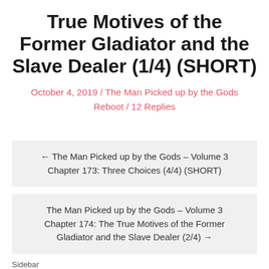True Motives of the Former Gladiator and the Slave Dealer (1/4) (SHORT)
October 4, 2019 / The Man Picked up by the Gods Reboot / 12 Replies
← The Man Picked up by the Gods – Volume 3 Chapter 173: Three Choices (4/4) (SHORT)
The Man Picked up by the Gods – Volume 3 Chapter 174: The True Motives of the Former Gladiator and the Slave Dealer (2/4) →
Sidebar